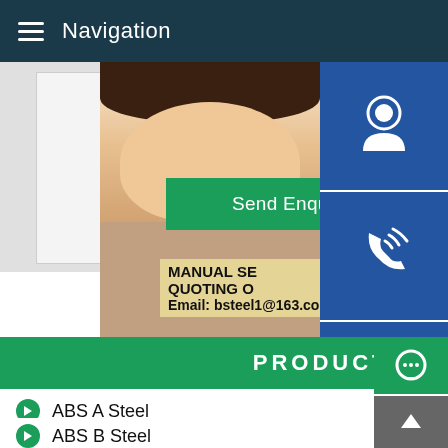Navigation
[Figure (screenshot): Customer service representative photo with headset, green Send Enquiry Now button, and three blue icon buttons (support, phone, Skype) on the right side]
MANUAL SE...
QUOTING O...
Email: bsteel1@163.com
PRODUCT LI...
ABS A Steel
ABS B Steel
ABS D Steel
ABS E Steel